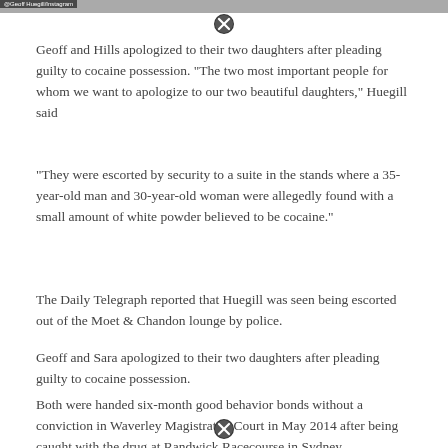[Figure (photo): Photo strip at top of page with small caption label in upper left corner reading '@Geoff Huegill/Instagram']
[Figure (other): Close/X button circle icon below photo strip]
Geoff and Hills apologized to their two daughters after pleading guilty to cocaine possession. "The two most important people for whom we want to apologize to our two beautiful daughters," Huegill said
"They were escorted by security to a suite in the stands where a 35-year-old man and 30-year-old woman were allegedly found with a small amount of white powder believed to be cocaine."
The Daily Telegraph reported that Huegill was seen being escorted out of the Moet & Chandon lounge by police.
Geoff and Sara apologized to their two daughters after pleading guilty to cocaine possession.
Both were handed six-month good behavior bonds without a conviction in Waverley Magistrates' Court in May 2014 after being caught with the drug at Randwick Racecourse in Sydney.
[Figure (other): Close/X button circle icon at bottom of page]